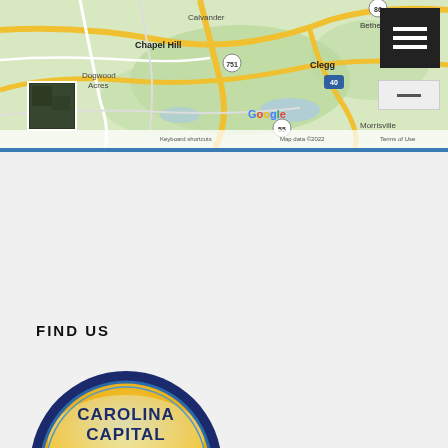[Figure (map): Google Maps screenshot showing Chapel Hill area in North Carolina with road network, green areas, location labels including Calvander, Bethesda, Chapel Hill, Dogwood Acres, Clegg, and road numbers 86, 751, 40, 55. Includes satellite thumbnail, hamburger menu button, and Google branding. Map data ©2022.]
FIND US
[Figure (logo): Carolina Capital Solutions circular logo with dark navy blue border, gold/yellow gradient background, mountain shapes in blue, text reading CAROLINA CAPITAL SOLUTIONS in dark blue, and blue wave at the bottom.]